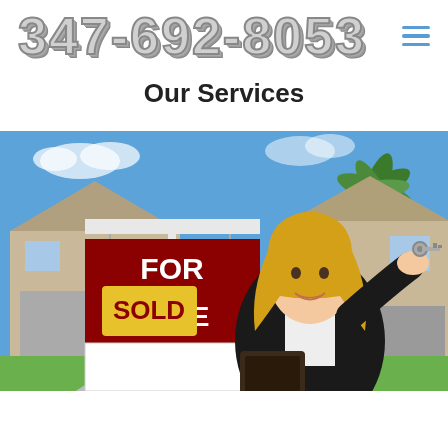347-692-8053
Our Services
[Figure (photo): Real estate agent woman smiling, holding house keys, standing in front of a 'For Sale - SOLD' sign with a house and palm trees in the background.]